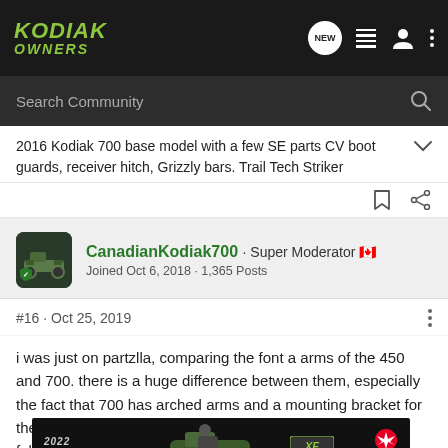Kodiak Owners
2016 Kodiak 700 base model with a few SE parts CV boot guards, receiver hitch, Grizzly bars. Trail Tech Striker
CanadianKodiak700 · Super Moderator 🇨🇦
Joined Oct 6, 2018 · 1,365 Posts
#16 · Oct 25, 2019
i was just on partzlla, comparing the font a arms of the 450 and 700. there is a huge difference between them, especially the fact that 700 has arched arms and a mounting bracket for the oem gua... fabricate... afterma...
[Figure (photo): 2022 Yamaha Grizzly XTE Edition advertisement banner with ATV in outdoors setting and Yamaha logo]